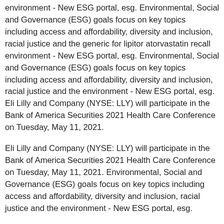environment - New ESG portal, esg. Environmental, Social and Governance (ESG) goals focus on key topics including access and affordability, diversity and inclusion, racial justice and the generic for lipitor atorvastatin recall environment - New ESG portal, esg. Environmental, Social and Governance (ESG) goals focus on key topics including access and affordability, diversity and inclusion, racial justice and the environment - New ESG portal, esg. Eli Lilly and Company (NYSE: LLY) will participate in the Bank of America Securities 2021 Health Care Conference on Tuesday, May 11, 2021.
Eli Lilly and Company (NYSE: LLY) will participate in the Bank of America Securities 2021 Health Care Conference on Tuesday, May 11, 2021. Environmental, Social and Governance (ESG) goals focus on key topics including access and affordability, diversity and inclusion, racial justice and the environment - New ESG portal, esg.
Environmental, Social and Governance (ESG) get lipitor goals focus on key topics including access and affordability, diversity and inclusion, racial justice and the environment - New ESG portal, esg http://www.robinmckinleysblog.com/purchase-lipitor/. Eli Lilly and